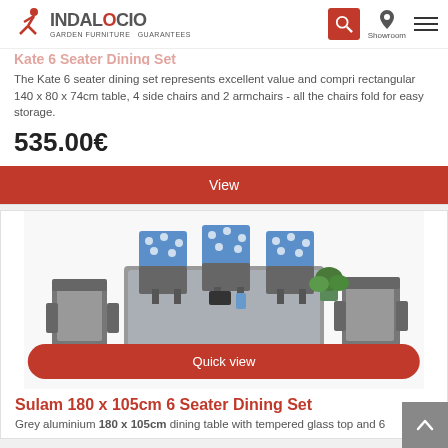Indalocio Garden Furniture Guarantees
Kate 6 Seater Dining Set
The Kate 6 seater dining set represents excellent value and comprises a rectangular 140 x 80 x 74cm table, 4 side chairs and 2 armchairs - all the chairs fold for easy storage.
535.00€
View
[Figure (photo): Outdoor dining set with grey metal chairs and a rectangular glass-top table. Several chairs have blue polka-dot cushions. A small plant sits on the table.]
Quick view
Sulam 180 x 105cm 6 Seater Dining Set
Grey aluminium 180 x 105cm dining table with tempered glass top and 6 stacking textile chairs.